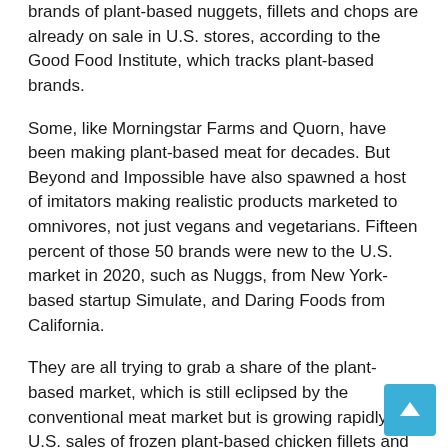brands of plant-based nuggets, fillets and chops are already on sale in U.S. stores, according to the Good Food Institute, which tracks plant-based brands.
Some, like Morningstar Farms and Quorn, have been making plant-based meat for decades. But Beyond and Impossible have also spawned a host of imitators making realistic products marketed to omnivores, not just vegans and vegetarians. Fifteen percent of those 50 brands were new to the U.S. market in 2020, such as Nuggs, from New York-based startup Simulate, and Daring Foods from California.
They are all trying to grab a share of the plant-based market, which is still eclipsed by the conventional meat market but is growing rapidly. U.S. sales of frozen plant-based chicken fillets and nuggets jumped 29% to $ 112 million in the 52 weeks ending Aug. 28, according to Nielsen IQ. Sales of conventional frozen offerings and nuggets increased 17% to $ 1.1 billion during the same period.